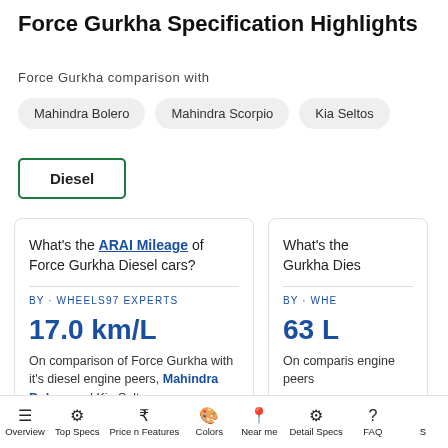Force Gurkha Specification Highlights
Force Gurkha comparison with
Mahindra Bolero
Mahindra Scorpio
Kia Seltos
Diesel
What's the ARAI Mileage of Force Gurkha Diesel cars?
BY · WHEELS97 EXPERTS
17.0 km/L
On comparison of Force Gurkha with it's diesel engine peers, Mahindra Bolero and Kia Seltos are
What's the [partially visible] of Force Gurkha Diesel cars?
BY · WHE
63 L
On comparis engine peers
Overview  Top Specs  Price n Features  Colors  Near me  Detail Specs  FAQ